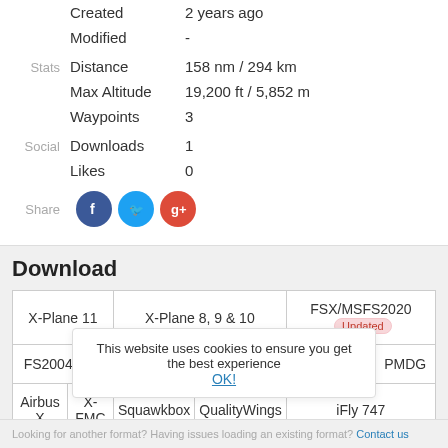Created   2 years ago
Modified   -
Stats   Distance   158 nm / 294 km
Max Altitude   19,200 ft / 5,852 m
Waypoints   3
Social   Downloads   1
Likes   0
Share
Download
| X-Plane 11 | X-Plane 8, 9 & 10 | FSX/MSFS2020 Updated |
| --- | --- | --- |
| FS2004/FS9 | Infinite Flight Updated | FlightGear | PMDG |
| Airbus X | X-FMC | Squawkbox | QualityWings | iFly 747 |
|  | JSON | CSV | KML |
This website uses cookies to ensure you get the best experience OK!
Looking for another format? Having issues loading an existing format? Contact us